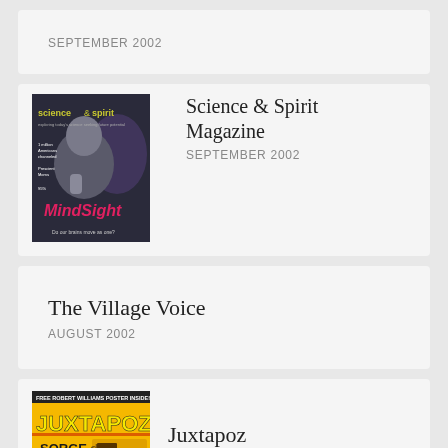September 2002
[Figure (photo): Science & Spirit Magazine cover, September 2002, showing a man with neural/brain imagery and text 'MindSight']
Science & Spirit Magazine
September 2002
The Village Voice
August 2002
[Figure (photo): Juxtapoz magazine cover with colorful text 'JUXTAPOZ' and 'SORGE des']
Juxtapoz